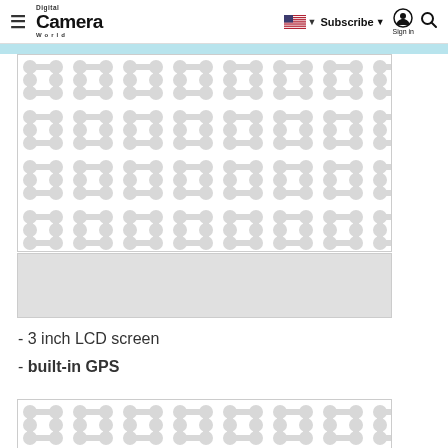Digital Camera World — Subscribe · Sign in
[Figure (illustration): Placeholder image with repeating rounded dumbbell/peanut shape pattern in light gray on white background]
[Figure (illustration): Gray placeholder rectangle (advertisement or image loading placeholder)]
- 3 inch LCD screen
- built-in GPS
[Figure (illustration): Partial placeholder image at bottom with same repeating rounded dumbbell pattern in light gray]